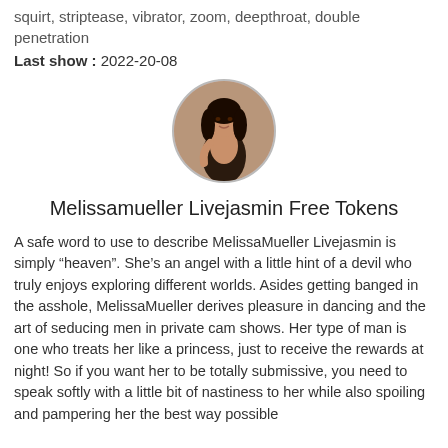squirt, striptease, vibrator, zoom, deepthroat, double penetration
Last show : 2022-20-08
[Figure (photo): Circular profile photo of a woman with long dark hair posing in a room]
Melissamueller Livejasmin Free Tokens
A safe word to use to describe MelissaMueller Livejasmin is simply “heaven”. She’s an angel with a little hint of a devil who truly enjoys exploring different worlds. Asides getting banged in the asshole, MelissaMueller derives pleasure in dancing and the art of seducing men in private cam shows. Her type of man is one who treats her like a princess, just to receive the rewards at night! So if you want her to be totally submissive, you need to speak softly with a little bit of nastiness to her while also spoiling and pampering her the best way possible